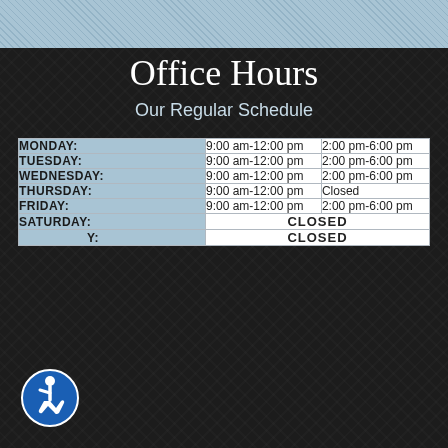Office Hours
Our Regular Schedule
| Day | Morning | Afternoon |
| --- | --- | --- |
| MONDAY: | 9:00 am-12:00 pm | 2:00 pm-6:00 pm |
| TUESDAY: | 9:00 am-12:00 pm | 2:00 pm-6:00 pm |
| WEDNESDAY: | 9:00 am-12:00 pm | 2:00 pm-6:00 pm |
| THURSDAY: | 9:00 am-12:00 pm | Closed |
| FRIDAY: | 9:00 am-12:00 pm | 2:00 pm-6:00 pm |
| SATURDAY: | CLOSED |  |
| SUNDAY: | CLOSED |  |